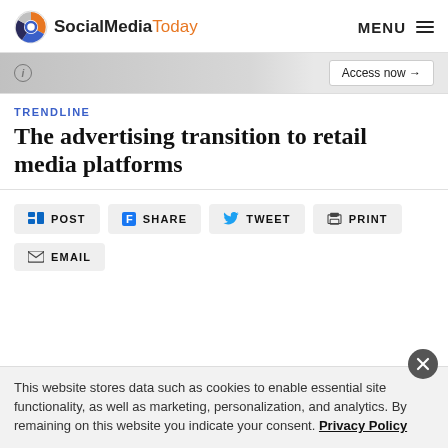SocialMediaToday  MENU
[Figure (screenshot): Partially visible banner/ad image with Access now button]
TRENDLINE
The advertising transition to retail media platforms
POST
SHARE
TWEET
PRINT
EMAIL
This website stores data such as cookies to enable essential site functionality, as well as marketing, personalization, and analytics. By remaining on this website you indicate your consent. Privacy Policy